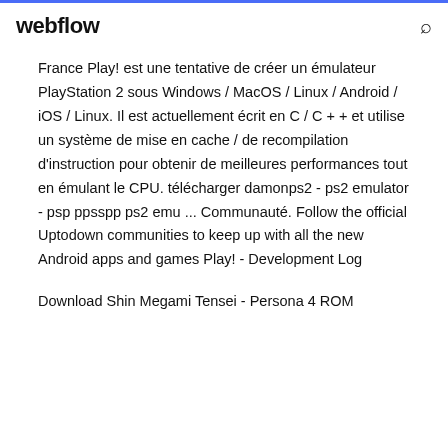webflow
France Play! est une tentative de créer un émulateur PlayStation 2 sous Windows / MacOS / Linux / Android / iOS / Linux. Il est actuellement écrit en C / C + + et utilise un système de mise en cache / de recompilation d'instruction pour obtenir de meilleures performances tout en émulant le CPU. télécharger damonps2 - ps2 emulator - psp ppsspp ps2 emu ... Communauté. Follow the official Uptodown communities to keep up with all the new Android apps and games Play! - Development Log
Download Shin Megami Tensei - Persona 4 ROM